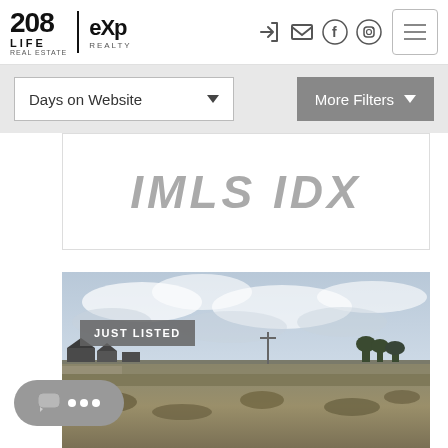[Figure (logo): 208 Life Real Estate / eXp Realty logo in top-left of navigation bar]
[Figure (screenshot): Top navigation bar with icons for sign-in, email, Facebook, Instagram, and hamburger menu button]
[Figure (screenshot): Filter bar with 'Days on Website' dropdown and 'More Filters' button on gray background]
[Figure (screenshot): IMLS IDX white box with large italic gray text reading 'IMLS IDX']
[Figure (photo): Real estate property photo showing vacant land/lot with cloudy sky, distant houses on horizon, dry grass in foreground, labeled 'JUST LISTED']
[Figure (screenshot): Gray rounded chat button at bottom left with three white dots]